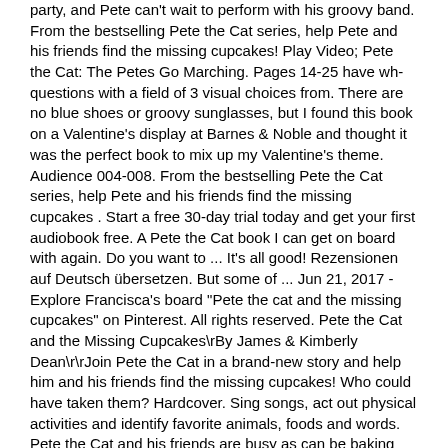party, and Pete can't wait to perform with his groovy band. From the bestselling Pete the Cat series, help Pete and his friends find the missing cupcakes! Play Video; Pete the Cat: The Petes Go Marching. Pages 14-25 have wh- questions with a field of 3 visual choices from. There are no blue shoes or groovy sunglasses, but I found this book on a Valentine's display at Barnes & Noble and thought it was the perfect book to mix up my Valentine's theme. Audience 004-008. From the bestselling Pete the Cat series, help Pete and his friends find the missing cupcakes . Start a free 30-day trial today and get your first audiobook free. A Pete the Cat book I can get on board with again. Do you want to ... It's all good! Rezensionen auf Deutsch übersetzen. But some of ... Jun 21, 2017 - Explore Francisca's board "Pete the cat and the missing cupcakes" on Pinterest. All rights reserved. Pete the Cat and the Missing Cupcakes\rBy James & Kimberly Dean\r\rJoin Pete the Cat in a brand-new story and help him and his friends find the missing cupcakes! Who could have taken them? Hardcover. Sing songs, act out physical activities and identify favorite animals, foods and words. Pete the Cat and his friends are busy as can be baking cupcakes for a party, and Pete can't wait to perform with his groovy band. Start a free 30-day trial today and get your first audiobook free. But some of the cupcakes have gone missing! Join the groovy fun with Pete the Cat songs, animated videos and downloadable Pete the Cat activities. By submitting your email address, you understand that you will receive email communications from HarperCollins Publishers. Play Video; Pete the Cat: Five Little Ducks. Copyright c by KIZCLUB.COM. But some of the cupcakes have gone missing! Verifizierter Kauf. Help Pete the Cat find his guitar and search for hidden objects all throughout Pete's school. Pete the Cat ... Who could have taken them?